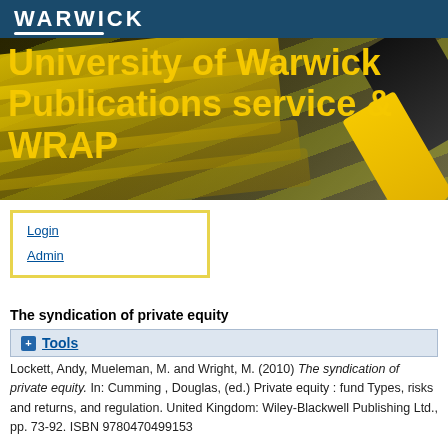[Figure (illustration): University of Warwick Publications service & WRAP banner with yellow highlighter pens on dark background]
Login
Admin
The syndication of private equity
+ Tools
Lockett, Andy, Mueleman, M. and Wright, M. (2010) The syndication of private equity. In: Cumming , Douglas, (ed.) Private equity : fund Types, risks and returns, and regulation. United Kingdom: Wiley-Blackwell Publishing Ltd., pp. 73-92. ISBN 9780470499153